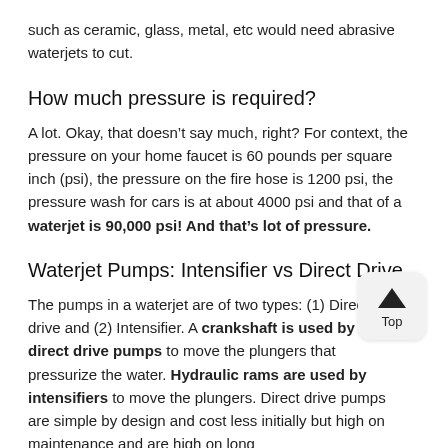such as ceramic, glass, metal, etc would need abrasive waterjets to cut.
How much pressure is required?
A lot. Okay, that doesn’t say much, right? For context, the pressure on your home faucet is 60 pounds per square inch (psi), the pressure on the fire hose is 1200 psi, the pressure wash for cars is at about 4000 psi and that of a waterjet is 90,000 psi! And that’s lot of pressure.
Waterjet Pumps: Intensifier vs Direct Drive
The pumps in a waterjet are of two types: (1) Direct drive and (2) Intensifier. A crankshaft is used by direct drive pumps to move the plungers that pressurize the water. Hydraulic rams are used by intensifiers to move the plungers. Direct drive pumps are simple by design and cost less initially but high on maintenance and are high on long